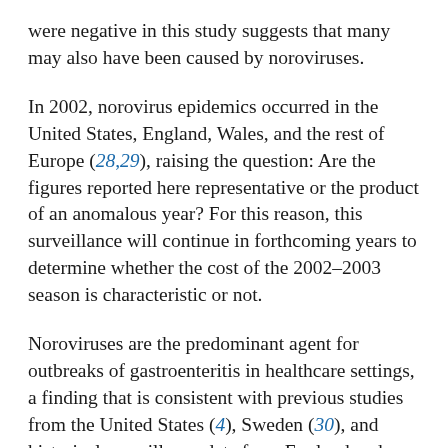were negative in this study suggests that many may also have been caused by noroviruses.
In 2002, norovirus epidemics occurred in the United States, England, Wales, and the rest of Europe (28,29), raising the question: Are the figures reported here representative or the product of an anomalous year? For this reason, this surveillance will continue in forthcoming years to determine whether the cost of the 2002–2003 season is characteristic or not.
Noroviruses are the predominant agent for outbreaks of gastroenteritis in healthcare settings, a finding that is consistent with previous studies from the United States (4), Sweden (30), and historical surveillance data from England and Wales (1,3). However, our study extends these etiologic studies by determining the economic cost of gastroenteritis outbreaks and incidence rates in a defined